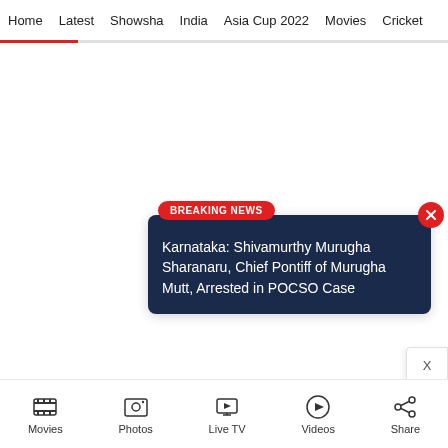Home | Latest | Showsha | India | Asia Cup 2022 | Movies | Cricket
BREAKING NEWS
Karnataka: Shivamurthy Murugha Sharanaru, Chief Pontiff of Murugha Mutt, Arrested in POCSO Case
Movies | Photos | Live TV | Videos | Share